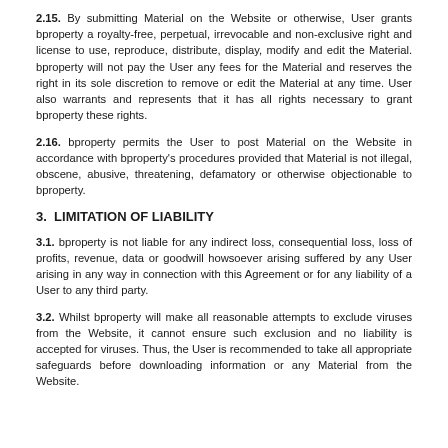2.15. By submitting Material on the Website or otherwise, User grants bproperty a royalty-free, perpetual, irrevocable and non-exclusive right and license to use, reproduce, distribute, display, modify and edit the Material. bproperty will not pay the User any fees for the Material and reserves the right in its sole discretion to remove or edit the Material at any time. User also warrants and represents that it has all rights necessary to grant bproperty these rights.
2.16. bproperty permits the User to post Material on the Website in accordance with bproperty's procedures provided that Material is not illegal, obscene, abusive, threatening, defamatory or otherwise objectionable to bproperty.
3. LIMITATION OF LIABILITY
3.1. bproperty is not liable for any indirect loss, consequential loss, loss of profits, revenue, data or goodwill howsoever arising suffered by any User arising in any way in connection with this Agreement or for any liability of a User to any third party.
3.2. Whilst bproperty will make all reasonable attempts to exclude viruses from the Website, it cannot ensure such exclusion and no liability is accepted for viruses. Thus, the User is recommended to take all appropriate safeguards before downloading information or any Material from the Website.